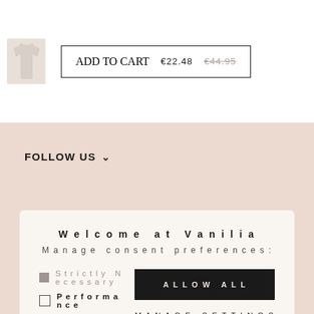[Figure (photo): Small product thumbnail of a white/cream colored top garment]
ADD TO CART  €22.48  €44.95
FOLLOW US ∨
Welcome at Vanilia
Manage consent preferences:
Strictly Necessary
Performance
Targeting
Functional
ALLOW ALL
MANAGE SETTINGS